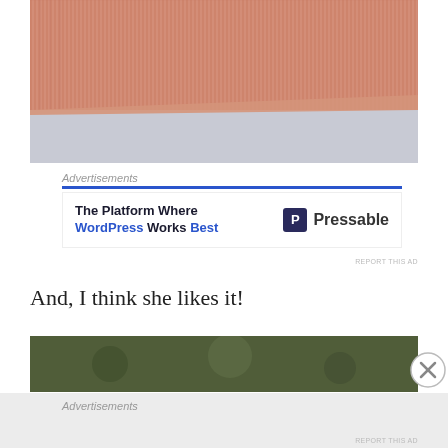[Figure (photo): Close-up photo of salmon/orange ribbed fabric on a light gray background]
Advertisements
[Figure (other): Advertisement banner: 'The Platform Where WordPress Works Best' - Pressable]
REPORT THIS AD
And, I think she likes it!
[Figure (photo): Partial photo, appears to be an outdoor scene with greenery]
Advertisements
REPORT THIS AD